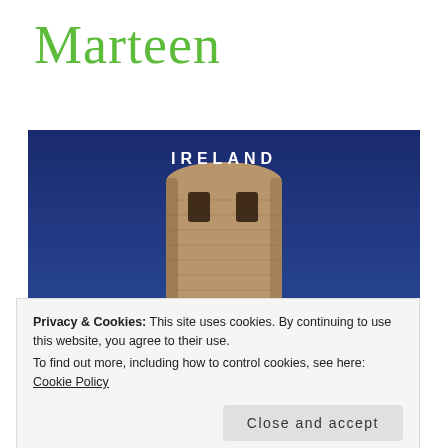Marteen
[Figure (photo): Photo of an ancient round stone tower (Irish round tower) against a deep blue sky, with the word IRELAND in white capital letters overlaid at the top center]
Privacy & Cookies: This site uses cookies. By continuing to use this website, you agree to their use.
To find out more, including how to control cookies, see here: Cookie Policy
Close and accept
[Figure (photo): Partial view of a colorful decorative image at the bottom of the page, appears to be text or decorative lettering in brown/orange tones with green foliage visible on the left]